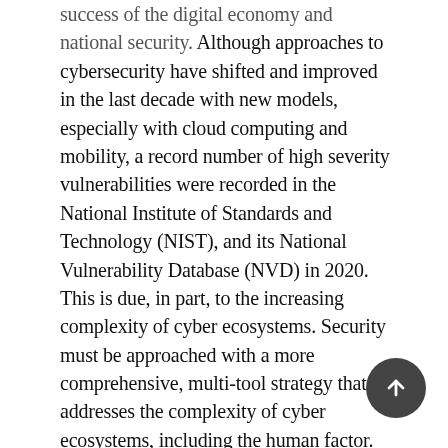success of the digital economy and national security. Although approaches to cybersecurity have shifted and improved in the last decade with new models, especially with cloud computing and mobility, a record number of high severity vulnerabilities were recorded in the National Institute of Standards and Technology (NIST), and its National Vulnerability Database (NVD) in 2020. This is due, in part, to the increasing complexity of cyber ecosystems. Security must be approached with a more comprehensive, multi-tool strategy that addresses the complexity of cyber ecosystems, including the human factor. Ethical hacking has emerged as such an approach: a more effective, multi-strategy, comprehensive approach to cyber security's most pressing needs, especially understanding the human factor. Research on ethical hacking, however, is limited in scope. The two main objectives of this work are to (1) provide highlights of